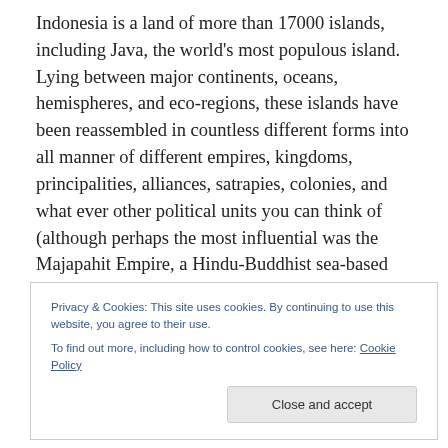Indonesia is a land of more than 17000 islands, including Java, the world's most populous island. Lying between major continents, oceans, hemispheres, and eco-regions, these islands have been reassembled in countless different forms into all manner of different empires, kingdoms, principalities, alliances, satrapies, colonies, and what ever other political units you can think of (although perhaps the most influential was the Majapahit Empire, a Hindu-Buddhist sea-based empire which was headquartered in Java and provided the cultural and aesthetic roots for contemporary Indonesian society).
Privacy & Cookies: This site uses cookies. By continuing to use this website, you agree to their use. To find out more, including how to control cookies, see here: Cookie Policy